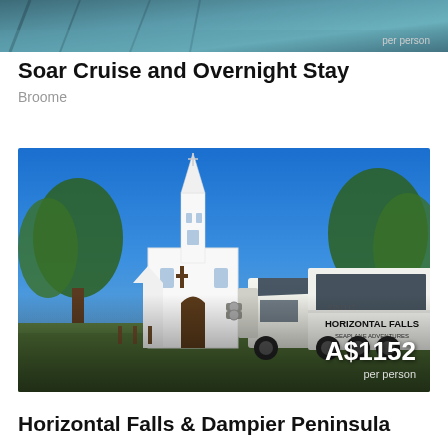[Figure (photo): Partial top image showing a scenic tour location with teal/blue tones, with 'per person' text overlay in bottom right]
Soar Cruise and Overnight Stay
Broome
[Figure (photo): Photo of a white church with a tall steeple against a blue sky, with a large white Horizontal Falls Seaplane Adventures truck parked in front. Price overlay shows A$1152 per person.]
Horizontal Falls & Dampier Peninsula